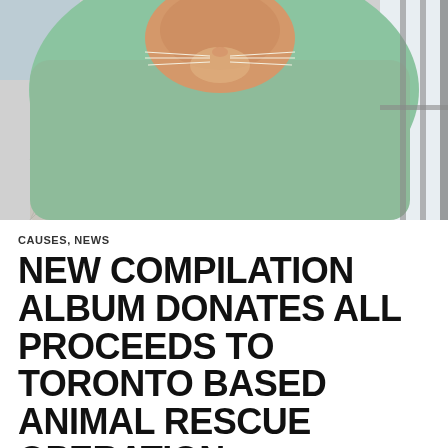[Figure (photo): Close-up photo of an orange cat wrapped in a green fleece blanket, looking down at the camera from above. The cat's face and white whiskers are visible, and a grey diamond-patterned blanket is visible below.]
CAUSES, NEWS
NEW COMPILATION ALBUM DONATES ALL PROCEEDS TO TORONTO BASED ANIMAL RESCUE OPERATION
FEBRUARY 19, 2021   HALLDÓR H KRISTÍNARSON   LEAVE A COMMENT
Ambient, drone, and other experimental electronic music might not be what comes to mind when you think of protest